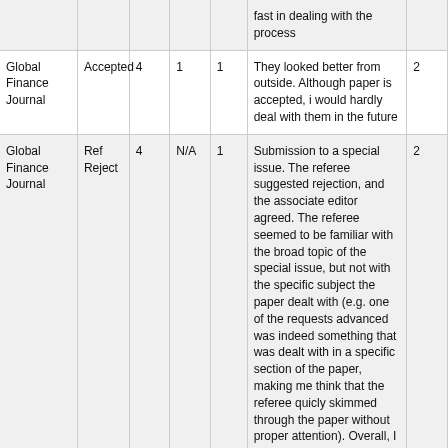| Journal | Status | Months | Rounds | Refs | Comment |  |
| --- | --- | --- | --- | --- | --- | --- |
|  |  |  |  |  | fast in dealing with the process |  |
| Global Finance Journal | Accepted | 4 | 1 | 1 | They looked better from outside. Although paper is accepted, i would hardly deal with them in the future | 2 |
| Global Finance Journal | Ref Reject | 4 | N/A | 1 | Submission to a special issue. The referee suggested rejection, and the associate editor agreed. The referee seemed to be familiar with the broad topic of the special issue, but not with the specific subject the paper dealt with (e.g. one of the requests advanced was indeed something that was dealt with in a specific section of the paper, making me think that the referee quicly skimmed through the paper without proper attention). Overall, I was disappointed not by the outcome per se, which is part of the game, but by the poor judgment of the referee. | 2 |
| Health Economics | Pending | 6 | N/A | 0 | Paper sat at editor's desk for 5 months with no review. Contacted them, told me they will try to send it out to reviewers. Considering withdrawing. | 2 |